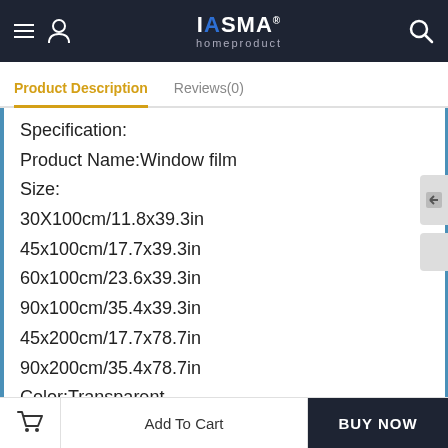IASMA homeproduct
Product Description | Reviews(0)
Specification:
Product Name:Window film
Size:
30X100cm/11.8x39.3in
45x100cm/17.7x39.3in
60x100cm/23.6x39.3in
90x100cm/35.4x39.3in
45x200cm/17.7x78.7in
90x200cm/35.4x78.7in
Color:Transparent
Material:PVC
Add To Cart | BUY NOW